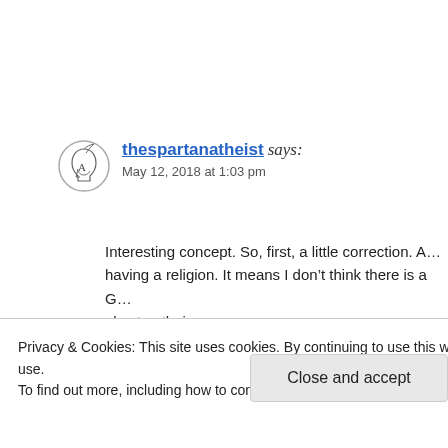[Figure (logo): Spartan helmet logo with letter A, circular outline]
thespartanatheist says:
May 12, 2018 at 1:03 pm
Interesting concept. So, first, a little correction. A… having a religion. It means I don’t think there is a G… else to atheism.
So you’re right that atheism doesn’t tell me to be…
Privacy & Cookies: This site uses cookies. By continuing to use this website, you agree to their use.
To find out more, including how to control cookies, see here: Cookie Policy
Close and accept